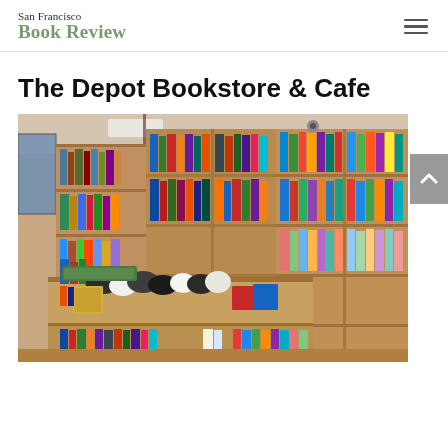San Francisco Book Review
The Depot Bookstore & Cafe
[Figure (photo): Interior of The Depot Bookstore & Cafe showing wooden bookshelves filled with colorful books and merchandise, with a display table in the foreground featuring stuffed animals and boxed items.]